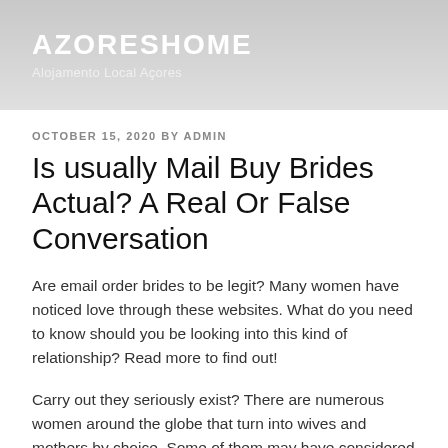AZORESHOME
Alojamento Local Açores
OCTOBER 15, 2020 BY ADMIN
Is usually Mail Buy Brides Actual? A Real Or False Conversation
Are email order brides to be legit? Many women have noticed love through these websites. What do you need to know should you be looking into this kind of relationship? Read more to find out!
Carry out they seriously exist? There are numerous women around the globe that turn into wives and mothers by choice. Some of them may have considered a marriage, despite the fact that they were not interested